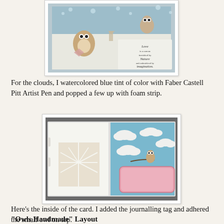[Figure (photo): Close-up of a handmade card showing two owls on a tree with a calligraphy quote: 'Love is a canvas furnished by Nature and embroidered by imagination. VOLTAIRE']
For the clouds, I watercolored blue tint of color with Faber Castell Pitt Artist Pen and popped a few up with foam strip.
[Figure (photo): Inside of a handmade card showing a tree die cut on the left panel and a blue sky with clouds, an owl on a branch, and a pink journalling tag on the right panel.]
Here's the inside of the card. I added the journalling tag and adhered the small owl on top.
"Owls Handmade" Layout